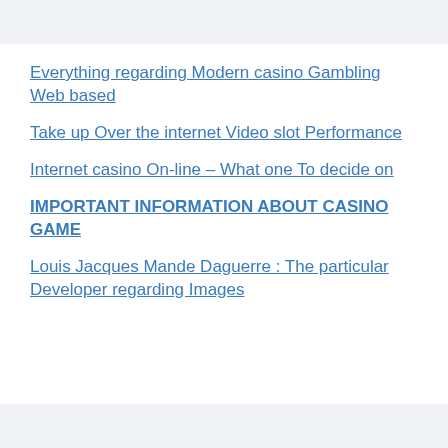Everything regarding Modern casino Gambling Web based
Take up Over the internet Video slot Performance
Internet casino On-line – What one To decide on
IMPORTANT INFORMATION ABOUT CASINO GAME
Louis Jacques Mande Daguerre : The particular Developer regarding Images